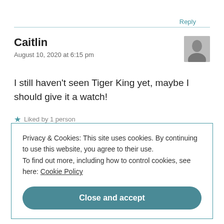Reply
Caitlin
August 10, 2020 at 6:15 pm
I still haven't seen Tiger King yet, maybe I should give it a watch!
★ Liked by 1 person
Privacy & Cookies: This site uses cookies. By continuing to use this website, you agree to their use. To find out more, including how to control cookies, see here: Cookie Policy
Close and accept